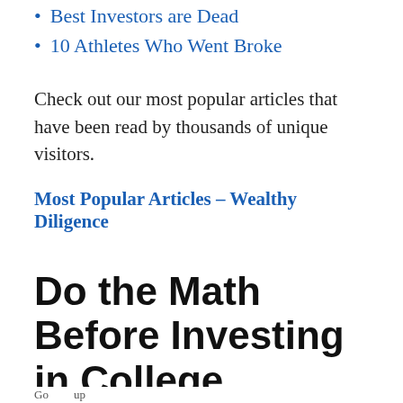Best Investors are Dead
10 Athletes Who Went Broke
Check out our most popular articles that have been read by thousands of unique visitors.
Most Popular Articles – Wealthy Diligence
Do the Math Before Investing in College
As you can see, the claims that college is worthless are mostly baseless, even if your only definition for learning success is Purely...